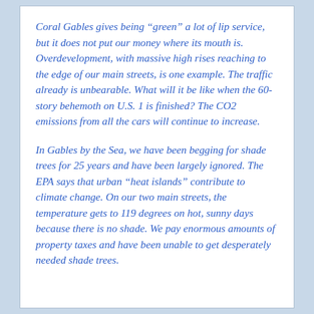Coral Gables gives being “green” a lot of lip service, but it does not put our money where its mouth is. Overdevelopment, with massive high rises reaching to the edge of our main streets, is one example. The traffic already is unbearable. What will it be like when the 60-story behemoth on U.S. 1 is finished? The CO2 emissions from all the cars will continue to increase.
In Gables by the Sea, we have been begging for shade trees for 25 years and have been largely ignored. The EPA says that urban “heat islands” contribute to climate change. On our two main streets, the temperature gets to 119 degrees on hot, sunny days because there is no shade. We pay enormous amounts of property taxes and have been unable to get desperately needed shade trees.